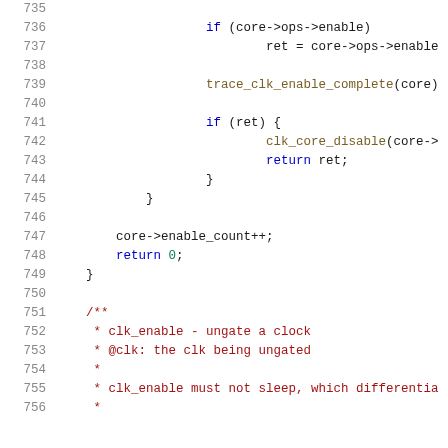Source code listing, lines 735-755+, showing C kernel clock enable function with conditional ops->enable call, trace_clk_enable_complete, error handling block, enable_count increment, and start of /** clk_enable - ungate a clock */ documentation comment